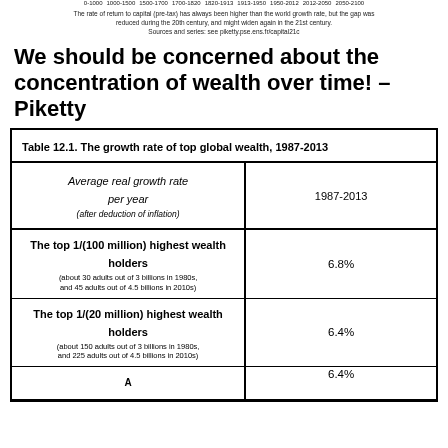0-1000   1000-1500   1500-1700   1700-1820   1820-1913   1913-1950   1950-2012   2012-2050   2050-2100
The rate of return to capital (pre-tax) has always been higher than the world growth rate, but the gap was reduced during the 20th century, and might widen again in the 21st century. Sources and series: see piketty.pse.ens.fr/capital21c
We should be concerned about the concentration of wealth over time! – Piketty
| Average real growth rate per year (after deduction of inflation) | 1987-2013 |
| --- | --- |
| The top 1/(100 million) highest wealth holders (about 30 adults out of 3 billions in 1980s, and 45 adults out of 4.5 billions in 2010s) | 6.8% |
| The top 1/(20 million) highest wealth holders (about 150 adults out of 3 billions in 1980s, and 225 adults out of 4.5 billions in 2010s) | 6.4% |
| (partial row visible) | 6.4% |